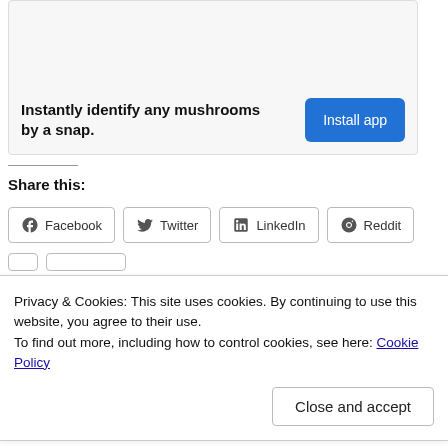[Figure (other): App advertisement banner with text 'Instantly identify any mushrooms by a snap.' and an 'Install app' button]
Share this:
Facebook
Twitter
LinkedIn
Reddit
Privacy & Cookies: This site uses cookies. By continuing to use this website, you agree to their use.
To find out more, including how to control cookies, see here: Cookie Policy
Close and accept